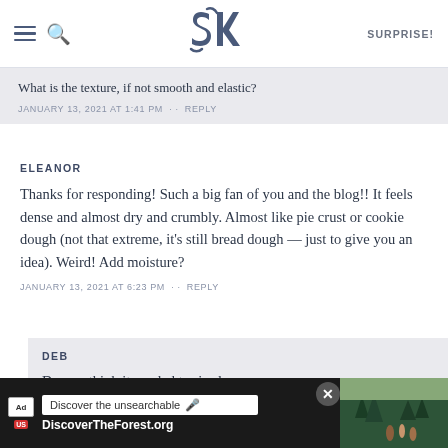SK - SURPRISE!
What is the texture, if not smooth and elastic?
JANUARY 13, 2021 AT 1:41 PM · · REPLY
ELEANOR
Thanks for responding! Such a big fan of you and the blog!! It feels dense and almost dry and crumbly. Almost like pie crust or cookie dough (not that extreme, it's still bread dough — just to give you an idea). Weird! Add moisture?
JANUARY 13, 2021 AT 6:23 PM · · REPLY
DEB
Do you think it needed to rise longer,
[Figure (screenshot): Advertisement banner: Discover the unsearchable - DiscoverTheForest.org with forest photo]